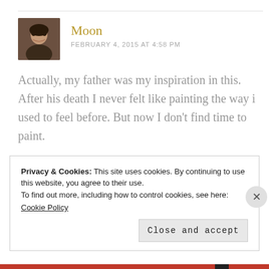[Figure (photo): Avatar photo of commenter Moon — a person with dark hair, smiling]
Moon
FEBRUARY 4, 2015 AT 4:58 PM
Actually, my father was my inspiration in this. After his death I never felt like painting the way i used to feel before. But now I don't find time to paint.
★ Liked by 1 person
Privacy & Cookies: This site uses cookies. By continuing to use this website, you agree to their use.
To find out more, including how to control cookies, see here:
Cookie Policy
Close and accept